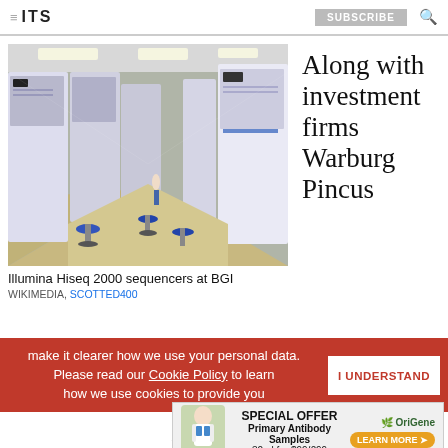ITS | SUBSCRIBE
[Figure (photo): Interior of a genomics laboratory showing rows of Illumina HiSeq 2000 sequencers (large white machines) on both sides of a corridor, with blue lab stools, ceiling lights, and personnel visible in the background at BGI.]
Illumina Hiseq 2000 sequencers at BGI
WIKIMEDIA, SCOTTED400
Along with investment firms Warburg Pincus
make it clearer how we use your personal data. Please read our Cookie Policy to learn how we use cookies to provide you
I UNDERSTAND
[Figure (infographic): Special Offer advertisement banner for OriGene: Primary Antibody Samples, 30 ul for $99/€99, with Learn More button. Includes illustration of scientist.]
ADVERTISEMENT